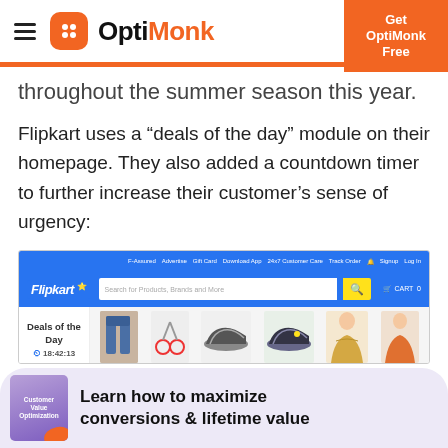OptiMonk — Get OptiMonk Free
throughout the summer season this year.
Flipkart uses a “deals of the day” module on their homepage. They also added a countdown timer to further increase their customer’s sense of urgency:
[Figure (screenshot): Screenshot of Flipkart homepage showing a blue navigation bar, search bar with yellow search button, and a 'Deals of the Day' section with a countdown timer reading 18:42:13, showing product images including jeans, shoes, and women's clothing.]
Learn how to maximize conversions & lifetime value